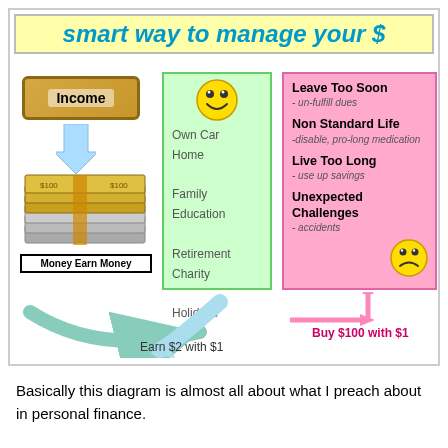[Figure (infographic): Smart way to manage your $ infographic showing Income flowing to Money Earn Money, with a green box listing goals (Own Car, Home, Family Education, Retirement Charity, Holidays Travel) and a pink box listing risks (Leave Too Soon, Non Standard Life, Live Too Long, Unexpected Challenges). Bottom shows 'Earn $2 with $1' and 'Buy $100 with $1' arrows.]
Basically this diagram is almost all about what I preach about in personal finance.